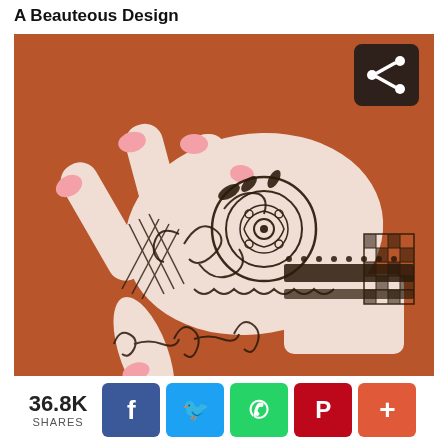A Beauteous Design
[Figure (photo): A hand with intricate henna/mehndi design featuring floral and geometric patterns on the back of the hand and fingers with pink nails, photographed on a brown/red wooden surface. A share icon overlay appears in the top-right corner of the image.]
36.8K SHARES